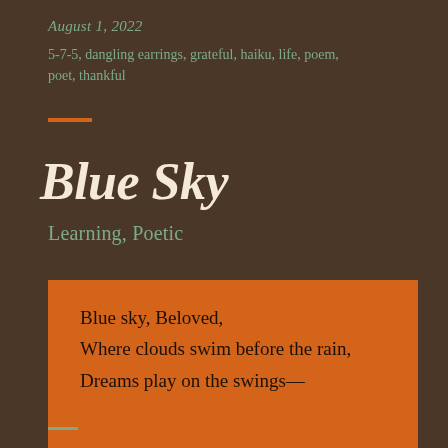August 1, 2022
5-7-5, dangling earrings, grateful, haiku, life, poem, poet, thankful
Blue Sky
Learning, Poetic
Blue sky, Beloved,
Where clouds swim before the rain,
Dreams play on the swings—